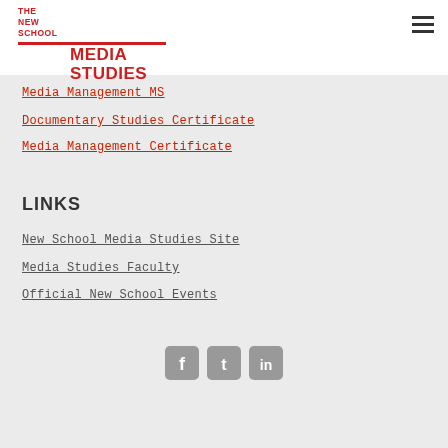[Figure (logo): The New School Media Studies logo with red text and red horizontal line]
Media Management MS
Documentary Studies Certificate
Media Management Certificate
LINKS
New School Media Studies Site
Media Studies Faculty
Official New School Events
[Figure (illustration): Social media icons: Facebook, Twitter, LinkedIn in gray rounded square buttons]